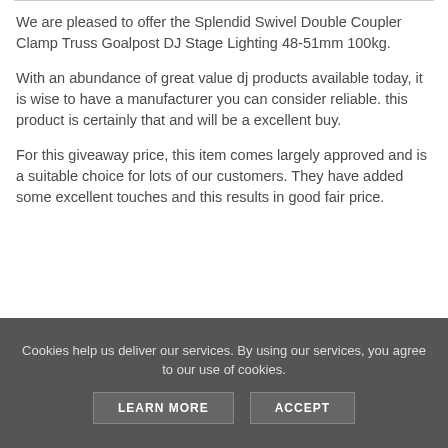We are pleased to offer the Splendid Swivel Double Coupler Clamp Truss Goalpost DJ Stage Lighting 48-51mm 100kg.
With an abundance of great value dj products available today, it is wise to have a manufacturer you can consider reliable. this product is certainly that and will be a excellent buy.
For this giveaway price, this item comes largely approved and is a suitable choice for lots of our customers. They have added some excellent touches and this results in good fair price.
Cookies help us deliver our services. By using our services, you agree to our use of cookies. LEARN MORE ACCEPT